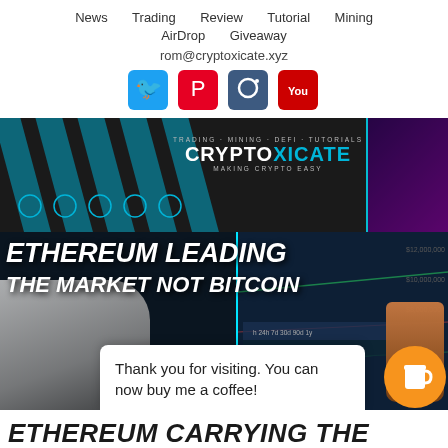News   Trading   Review   Tutorial   Mining   AirDrop   Giveaway
rom@cryptoxicate.xyz
[Figure (infographic): Social media icons: Twitter (blue), Pinterest (red), Instagram (dark blue), YouTube (red)]
[Figure (infographic): Cryptoxicate banner with blue diagonal stripes, TRADING · MINING · DEFI · TUTORIALS tagline, CRYPTOXICATE logo, MAKING CRYPTO EASY tagline, purple glowing figure on right]
[Figure (infographic): Article thumbnail: Ethereum leading the market not Bitcoin - white bold italic text over dark crypto chart background with bull terrier dog illustration and coffee popup overlay saying Thank you for visiting. You can now buy me a coffee!]
Thank you for visiting. You can now buy me a coffee!
ETHEREUM CARRYING THE